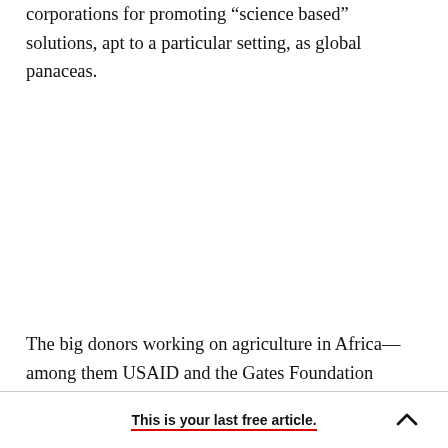corporations for promoting “science based” solutions, apt to a particular setting, as global panaceas.
The big donors working on agriculture in Africa—among them USAID and the Gates Foundation
This is your last free article.